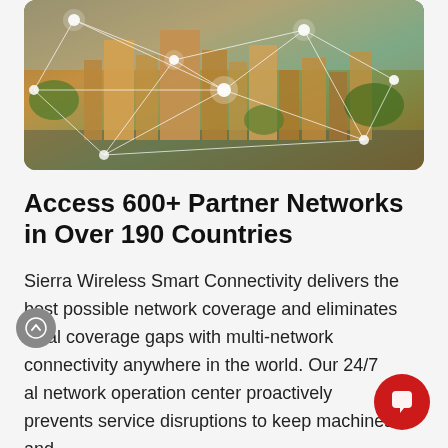[Figure (photo): Aerial city skyline photo (Tucson, Arizona area) overlaid with white network connection lines and glowing nodes, representing wireless network coverage.]
Access 600+ Partner Networks in Over 190 Countries
Sierra Wireless Smart Connectivity delivers the best possible network coverage and eliminates local coverage gaps with multi-network connectivity anywhere in the world. Our 24/7 global network operation center proactively prevents service disruptions to keep machines and